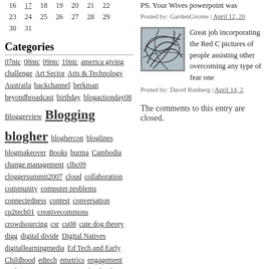16 17 18 19 20 21 22
23 24 25 26 27 28 29
30 31
Categories
07ntc 08ntc 09ntc 10ntc america giving challenge Art Sector Arts & Technology Austraila backchannel berkman beyondbroadcast birthday blogactionday08 Bloggerview Blogging blogher bloghercon bloglines blogmakeover Books burma Cambodia change management clbc09 cloggersummit2007 cloud collaboration community computer problems connectedness contest conversation cp2tech01 creativecommons crowdsourcing csr cu08 cute dog theory digg digital divide Digital Natives digitallearningmedia Ed Tech and Early Childhood edtech emetrics engagement evaluation experimentation facebook fairuse firefox flickr FLIP freeagent freedom of expression friendfeed fundraising2.0 Games generosity geny giveaways givelist global voices gmail gnomedex goals google googleadwords
PS. Your Wives powerpoint was
Posted by: GardenGnome | April 12, 20
[Figure (illustration): Abstract line drawing with overlapping curves on a gray-blue background, inside a square border.]
Great job incorporating the Red C pictures of people assisting other overcoming any type of fear one
Posted by: David Runberg | April 14, 2
The comments to this entry are closed.